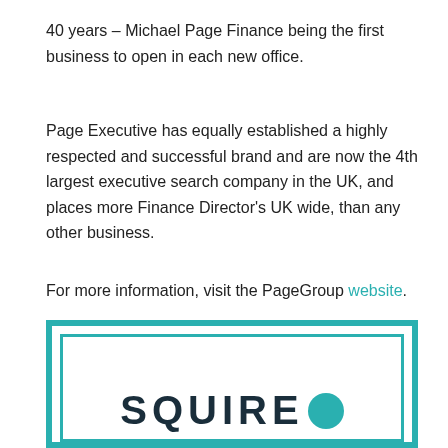40 years – Michael Page Finance being the first business to open in each new office.
Page Executive has equally established a highly respected and successful brand and are now the 4th largest executive search company in the UK, and places more Finance Director's UK wide, than any other business.
For more information, visit the PageGroup website.
[Figure (logo): SQUIRE logo inside a teal double-bordered rectangle frame. Dark text 'SQUIRE' with a teal circular icon at the end, on white background.]